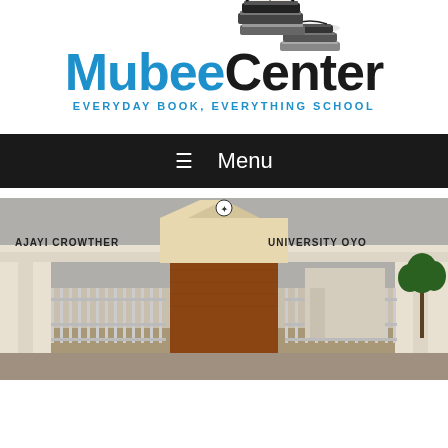[Figure (logo): MubeeCenter logo with stacked books icon, blue 'Mubee' and black 'Center' text, tagline 'EVERYDAY BOOK, EVERYTHING SCHOOL']
≡  Menu
[Figure (photo): Entrance gate of Ajayi Crowther University Oyo, with text 'AJAYI CROWTHER UNIVERSITY OYO' on the gate structure, brick tower in center, palm trees visible]